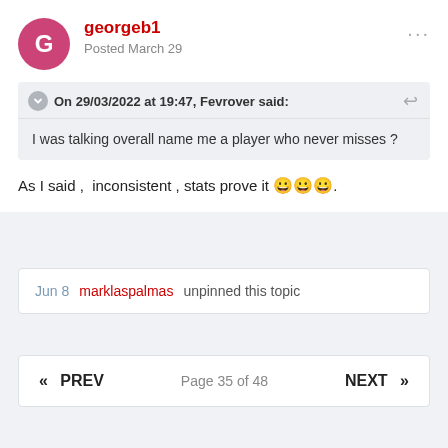georgeb1
Posted March 29
On 29/03/2022 at 19:47, Fevrover said:
I was talking overall name me a player who never misses ?
As I said ,  inconsistent , stats prove it 😀😀😀.
Jun 8  marklaspalmas unpinned this topic
« PREV   Page 35 of 48   NEXT »